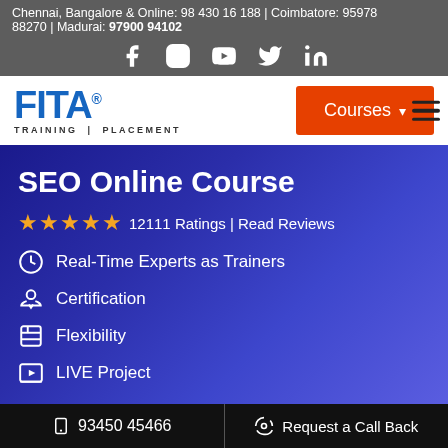Chennai, Bangalore & Online: 98 430 16 188 | Coimbatore: 95978 88270 | Madurai: 97900 94102
[Figure (logo): Social media icons: Facebook, Instagram, YouTube, Twitter, LinkedIn]
[Figure (logo): FITA Academy logo - TRAINING | PLACEMENT with registered trademark symbol]
[Figure (other): Orange Courses dropdown button]
SEO Online Course
★★★★★ 12111 Ratings | Read Reviews
Real-Time Experts as Trainers
Certification
Flexibility
LIVE Project
📱 93450 45466 | 🎓 Request a Call Back